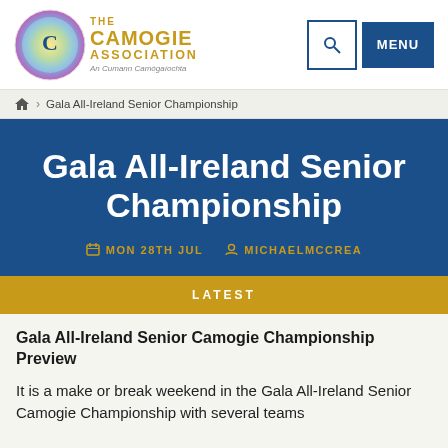THE CAMOGIE ASSOCIATION An Cumann Camógaíochta
Gala All-Ireland Senior Championship
Gala All-Ireland Senior Championship
MON 28TH JUL  MICHAELMCCREA
LATEST
Gala All-Ireland Senior Camogie Championship Preview
It is a make or break weekend in the Gala All-Ireland Senior Camogie Championship with several teams